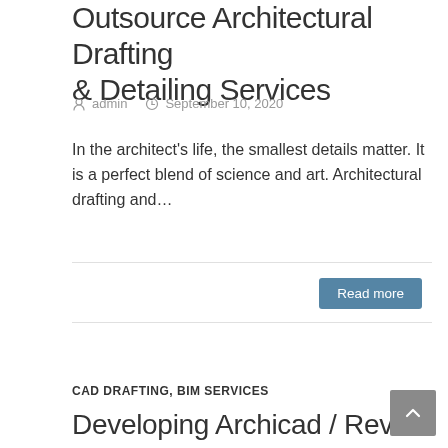Outsource Architectural Drafting & Detailing Services
admin   September 10, 2020
In the architect's life, the smallest details matter. It is a perfect blend of science and art. Architectural drafting and…
Read more
CAD DRAFTING, BIM SERVICES
Developing Archicad / Revit